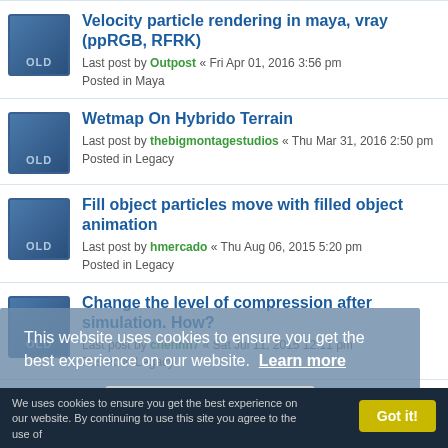Velocity particle rendering in maya, vray (ppRGB, RFRK)
Last post by Outpost « Fri Apr 01, 2016 3:56 pm
Posted in Maya
Wetmap On Hybrido Terrain
Last post by thebigmontagestudios « Thu Mar 31, 2016 2:50 pm
Posted in Legacy
Fill object particles move with filled object animation
Last post by hmercado « Thu Aug 06, 2015 5:20 pm
Posted in Legacy
Change the level of compression after simulation. How?
Last post by chennn7 « Sat Jul 11, 2015 12:11 pm
Posted in Legacy
Correct channels order in
This website uses cookies to ensure you get the best experience on our website. Learn more
Got it!
We uses cookies to ensure you get the best experience on our website. By continuing to use this site you agree to the use of
Got it!